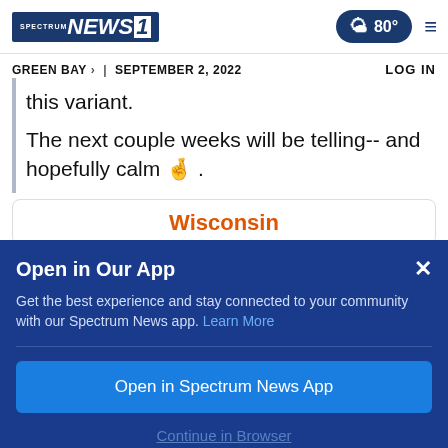Spectrum News 1 | GREEN BAY > | SEPTEMBER 2, 2022 | LOG IN | 80°
this variant.
The next couple weeks will be telling-- and hopefully calm 🤞 .
Wisconsin
Open in Our App
Get the best experience and stay connected to your community with our Spectrum News app. Learn More
Open in Spectrum News App
Continue in Browser